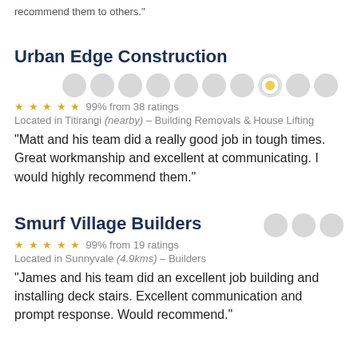recommend them to others."
Urban Edge Construction
99% from 38 ratings
Located in Titirangi (nearby) – Building Removals & House Lifting
"Matt and his team did a really good job in tough times. Great workmanship and excellent at communicating. I would highly recommend them."
Smurf Village Builders
99% from 19 ratings
Located in Sunnyvale (4.9kms) – Builders
"James and his team did an excellent job building and installing deck stairs. Excellent communication and prompt response. Would recommend."